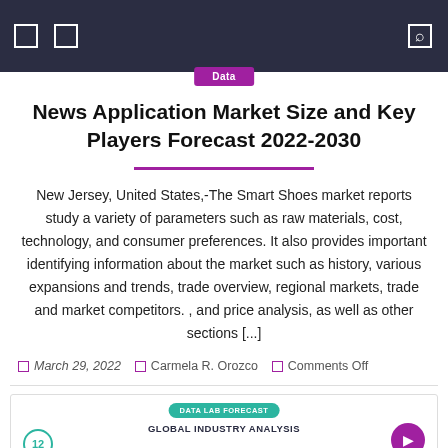Data
News Application Market Size and Key Players Forecast 2022-2030
New Jersey, United States,-The Smart Shoes market reports study a variety of parameters such as raw materials, cost, technology, and consumer preferences. It also provides important identifying information about the market such as history, various expansions and trends, trade overview, regional markets, trade and market competitors. , and price analysis, as well as other sections [...]
March 29, 2022  Carmela R. Orozco  Comments Off
[Figure (screenshot): Preview of a Data Lab Forecast / Global Industry Analysis report card with teal badge, logo, circular navigation button, and links to Competitive Landscape and Segmentation Analysis]